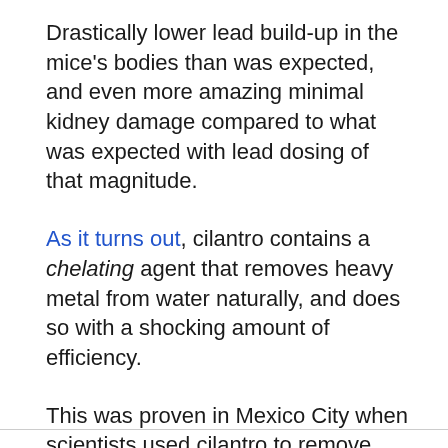Drastically lower lead build-up in the mice's bodies than was expected, and even more amazing minimal kidney damage compared to what was expected with lead dosing of that magnitude.
As it turns out, cilantro contains a chelating agent that removes heavy metal from water naturally, and does so with a shocking amount of efficiency.
This was proven in Mexico City when scientists used cilantro to remove heavy metal from some of the most contaminated public water in the Americas.